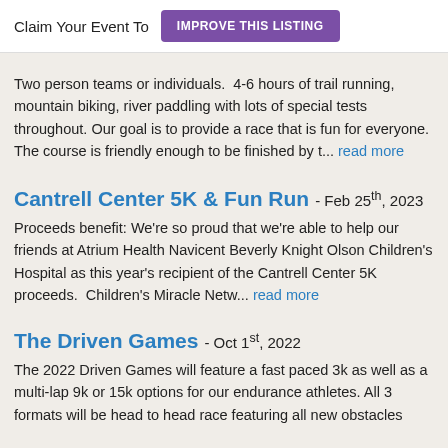Claim Your Event To  IMPROVE THIS LISTING
Two person teams or individuals.  4-6 hours of trail running, mountain biking, river paddling with lots of special tests throughout. Our goal is to provide a race that is fun for everyone.  The course is friendly enough to be finished by t... read more
Cantrell Center 5K & Fun Run - Feb 25th, 2023
Proceeds benefit: We're so proud that we're able to help our friends at Atrium Health Navicent Beverly Knight Olson Children's Hospital as this year's recipient of the Cantrell Center 5K proceeds.  Children's Miracle Netw... read more
The Driven Games - Oct 1st, 2022
The 2022 Driven Games will feature a fast paced 3k as well as a multi-lap 9k or 15k options for our endurance athletes. All 3 formats will be head to head race featuring all new obstacles